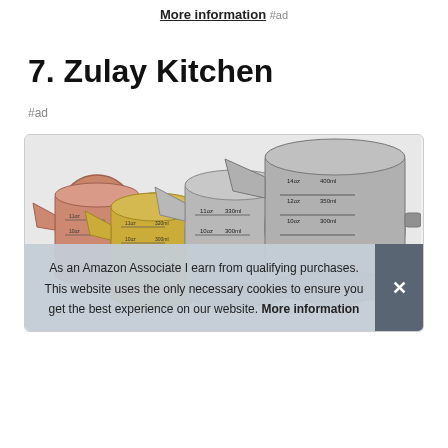More information #ad
7. Zulay Kitchen
#ad
[Figure (photo): Product photo of multiple stainless steel measuring cups with measurement markings, including a rose gold/copper one, displayed inside a rounded-corner box.]
As an Amazon Associate I earn from qualifying purchases. This website uses the only necessary cookies to ensure you get the best experience on our website. More information